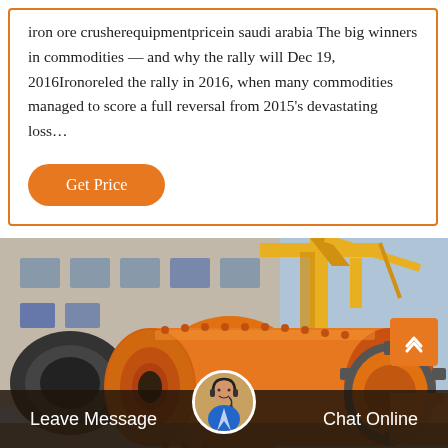iron ore crusherequipmentpricein saudi arabia The big winners in commodities — and why the rally will Dec 19, 2016Ironoreled the rally in 2016, when many commodities managed to score a full reversal from 2015's devastating loss…
Get Price
[Figure (photo): Industrial orange ball mill / grinding mill machine at a factory site with yellow crane equipment in the background]
Leave Message
Chat Online